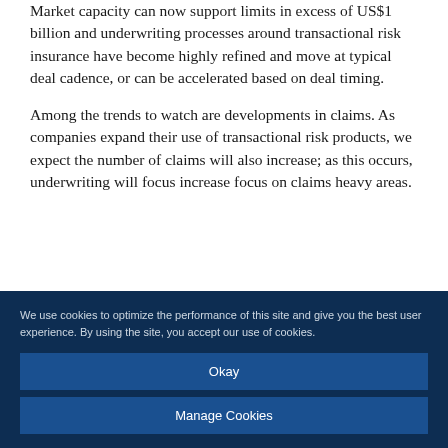Market capacity can now support limits in excess of US$1 billion and underwriting processes around transactional risk insurance have become highly refined and move at typical deal cadence, or can be accelerated based on deal timing.
Among the trends to watch are developments in claims. As companies expand their use of transactional risk products, we expect the number of claims will also increase; as this occurs, underwriting will focus increase focus on claims heavy areas.
We use cookies to optimize the performance of this site and give you the best user experience. By using the site, you accept our use of cookies.
Okay
Manage Cookies